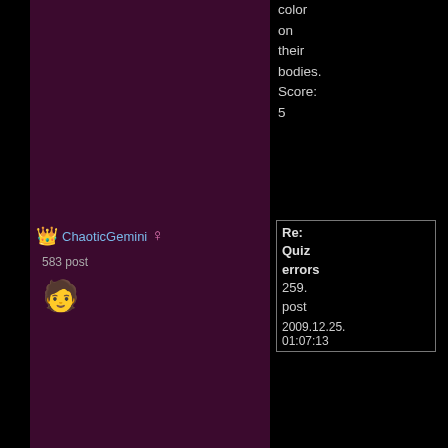color on their bodies. Score: 5
ChaoticGemini
583 post
Re: Quiz errors 259. post 2009.12.25. 01:07:13
Bad English aside, this question is WRONG: Which American president won first time the Nobel Peace Prize?